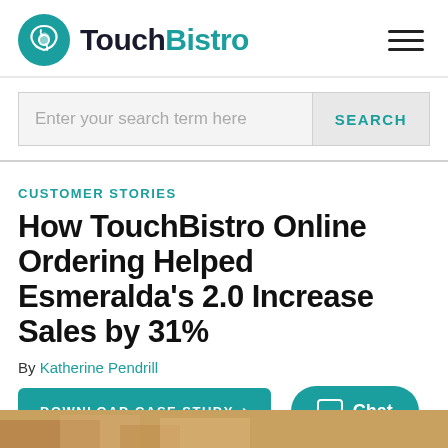TouchBistro
CUSTOMER STORIES
How TouchBistro Online Ordering Helped Esmeralda’s 2.0 Increase Sales by 31%
By Katherine Pendrill
DOWNLOAD CASE STUDY
Chat